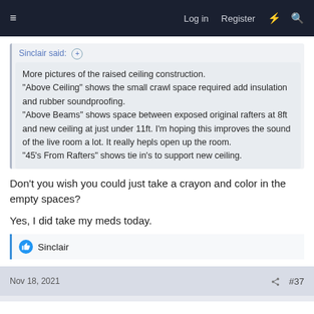≡   Log in   Register   ⚡   🔍
Sinclair said: ⊕
More pictures of the raised ceiling construction.
"Above Ceiling" shows the small crawl space required add insulation and rubber soundproofing.
"Above Beams" shows space between exposed original rafters at 8ft and new ceiling at just under 11ft. I'm hoping this improves the sound of the live room a lot. It really hepls open up the room.
"45's From Rafters" shows tie in's to support new ceiling.
Don't you wish you could just take a crayon and color in the empty spaces?
Yes, I did take my meds today.
Sinclair
Nov 18, 2021   #37